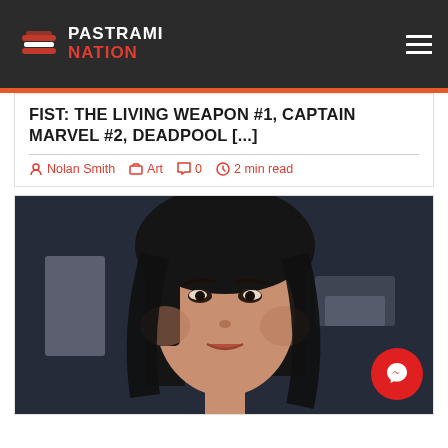Pastrami Nation
FIST: THE LIVING WEAPON #1, CAPTAIN MARVEL #2, DEADPOOL [...]
Nolan Smith   Art   0   2 min read
[Figure (photo): Close-up photo of a woman with dark hair holding comic books, with a Messenger button overlay in bottom right]